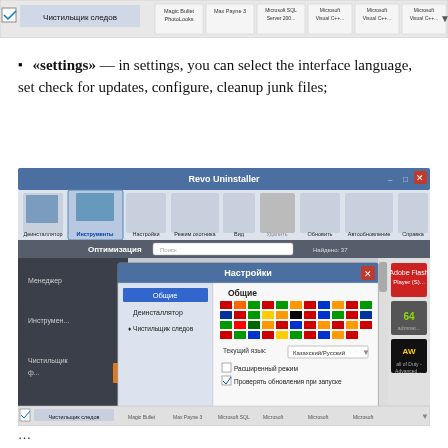[Figure (screenshot): Top portion of Revo Uninstaller application window showing taskbar with installed programs including Magic Bullet PhotoLooks, Max Payne 3, Microsoft SQL Server, Microsoft Visual C++ entries]
«settings» — in settings, you can select the interface language, set check for updates, configure, cleanup junk files;
[Figure (screenshot): Revo Uninstaller application window showing the Settings dialog (Настройки) open with General (Общие) tab selected, displaying a grid of country/language flags for interface language selection, with a dropdown showing Казахский/Русский selected, checkboxes for Расширенный режим and Проверять обновления при запуске, and OK/Отмена/Справка buttons at the bottom]
...